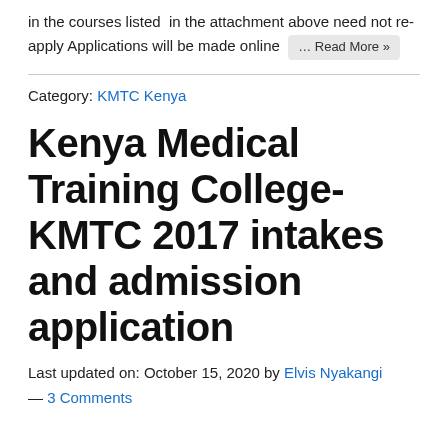in the courses listed  in the attachment above need not re-apply Applications will be made online … Read More »
Category: KMTC Kenya
Kenya Medical Training College-KMTC 2017 intakes and admission application
Last updated on: October 15, 2020 by Elvis Nyakangi — 3 Comments